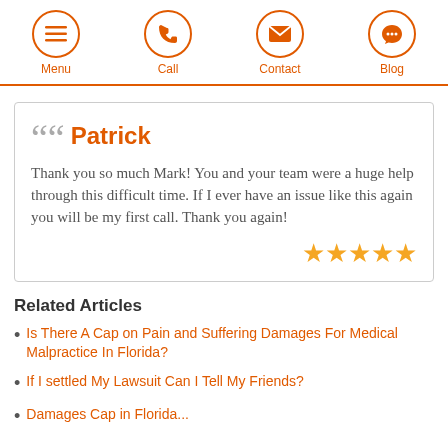Menu | Call | Contact | Blog
Patrick
Thank you so much Mark! You and your team were a huge help through this difficult time. If I ever have an issue like this again you will be my first call. Thank you again! ★★★★★
Related Articles
Is There A Cap on Pain and Suffering Damages For Medical Malpractice In Florida?
If I settled My Lawsuit Can I Tell My Friends?
Damages Cap in Florida...